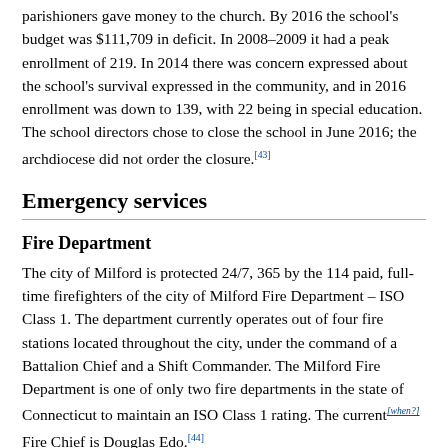parishioners gave money to the church. By 2016 the school's budget was $111,709 in deficit. In 2008–2009 it had a peak enrollment of 219. In 2014 there was concern expressed about the school's survival expressed in the community, and in 2016 enrollment was down to 139, with 22 being in special education. The school directors chose to close the school in June 2016; the archdiocese did not order the closure.[43]
Emergency services
Fire Department
The city of Milford is protected 24/7, 365 by the 114 paid, full-time firefighters of the city of Milford Fire Department – ISO Class 1. The department currently operates out of four fire stations located throughout the city, under the command of a Battalion Chief and a Shift Commander. The Milford Fire Department is one of only two fire departments in the state of Connecticut to maintain an ISO Class 1 rating. The current[when?] Fire Chief is Douglas Edo.[44]
Fire station locations and apparatus